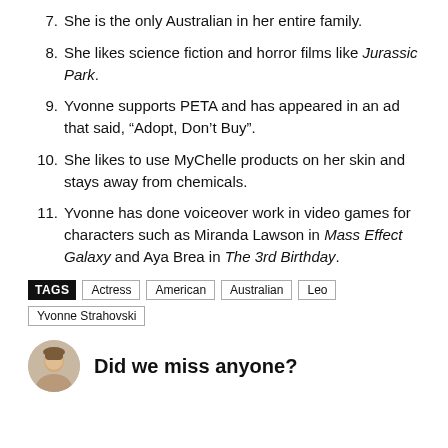7. She is the only Australian in her entire family.
8. She likes science fiction and horror films like Jurassic Park.
9. Yvonne supports PETA and has appeared in an ad that said, “Adopt, Don’t Buy”.
10. She likes to use MyChelle products on her skin and stays away from chemicals.
11. Yvonne has done voiceover work in video games for characters such as Miranda Lawson in Mass Effect Galaxy and Aya Brea in The 3rd Birthday.
TAGS  Actress  American  Australian  Leo  Yvonne Strahovski
Did we miss anyone?